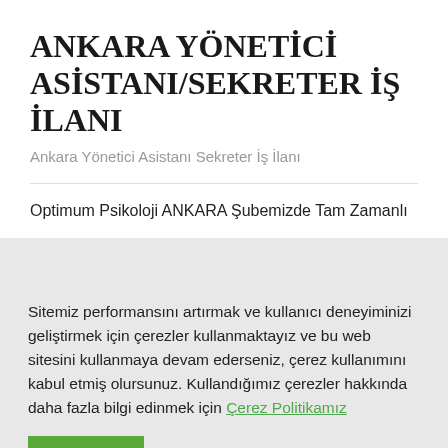ANKARA YÖNETİCİ ASİSTANI/SEKRETER İŞ İLANI
Ankara Yönetici Asistanı Sekreter İş İlanı
Optimum Psikoloji ANKARA Şubemizde Tam Zamanlı
Sitemiz performansını artırmak ve kullanıcı deneyiminizi geliştirmek için çerezler kullanmaktayız ve bu web sitesini kullanmaya devam ederseniz, çerez kullanımını kabul etmiş olursunuz. Kullandığımız çerezler hakkında daha fazla bilgi edinmek için Çerez Politikamız
Kabul Et